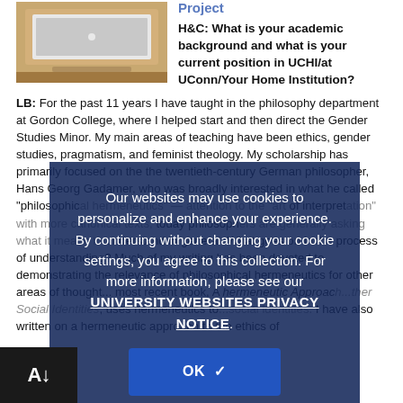[Figure (photo): Photo of a laptop on a wooden desk]
Project
H&C: What is your academic background and what is your current position in UCHI/at UConn/Your Home Institution?
LB: For the past 11 years I have taught in the philosophy department at Gordon College, where I helped start and then direct the Gender Studies Minor. My main areas of teaching have been ethics, gender studies, pragmatism, and feminist theology. My scholarship has primarily focused on the the twentieth-century German philosopher, Hans Georg Gadamer, who was broadly interested in what he called "philosophical hermeneutics" — attention to the "art of interpretation" with more canonical texts, today philosophers are generally asking what it means to understand in general. What goes on in the process of understanding? Much of my writing has been devoted to demonstrating the relevance of philosophical hermeneutics for other areas of thought... most recent book, A hermeneutic Approach...ther Social Identities, uses hermeneutics to...social identities. I have also written on a hermeneutic approach to the ethics of
Our websites may use cookies to personalize and enhance your experience. By continuing without changing your cookie settings, you agree to this collection. For more information, please see our UNIVERSITY WEBSITES PRIVACY NOTICE.
OK ✓
[Figure (logo): A with down arrow badge — bottom left corner accessibility tool]